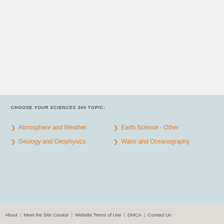CHOOSE YOUR SCIENCES 360 TOPIC:
Atmosphere and Weather
Earth Science - Other
Geology and Geophysics
Water and Oceanography
About | Meet the Site Curator | Website Terms of Use | DMCA | Contact Us